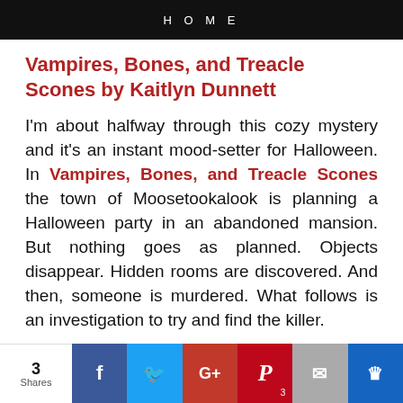HOME
Vampires, Bones, and Treacle Scones by Kaitlyn Dunnett
I'm about halfway through this cozy mystery and it's an instant mood-setter for Halloween. In Vampires, Bones, and Treacle Scones the town of Moosetookalook is planning a Halloween party in an abandoned mansion. But nothing goes as planned. Objects disappear. Hidden rooms are discovered. And then, someone is murdered. What follows is an investigation to try and find the killer.
3 Shares | Facebook | Twitter | Google+ | Pinterest 3 | Email | Crown